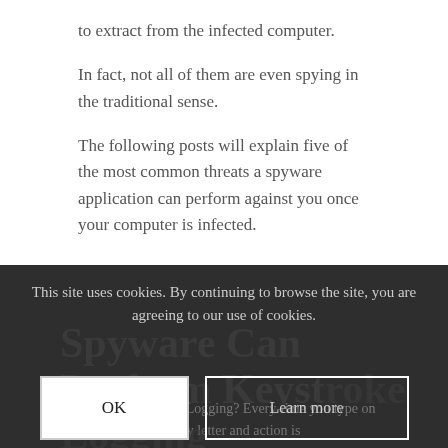to extract from the infected computer.
In fact, not all of them are even spying in the traditional sense.
The following posts will explain five of the most common threats a spyware application can perform against you once your computer is infected.
[Figure (screenshot): Cookie consent banner overlay on dark background with 'This site uses cookies. By continuing to browse the site, you are agreeing to our use of cookies.' text and OK / Learn more buttons]
Spyware Can Perform Keystroke Logging
What is Keystroke Logging? Every-time you type on your keyboard every letter and action is